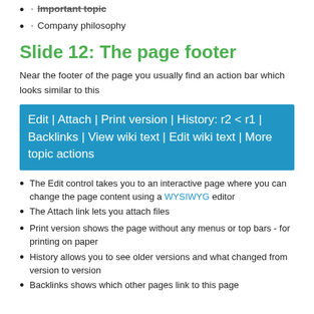Important topic
Company philosophy
Slide 12: The page footer
Near the footer of the page you usually find an action bar which looks similar to this
[Figure (screenshot): Blue action bar showing: Edit | Attach | Print version | History: r2 < r1 | Backlinks | View wiki text | Edit wiki text | More topic actions]
The Edit control takes you to an interactive page where you can change the page content using a WYSIWYG editor
The Attach link lets you attach files
Print version shows the page without any menus or top bars - for printing on paper
History allows you to see older versions and what changed from version to version
Backlinks shows which other pages link to this page